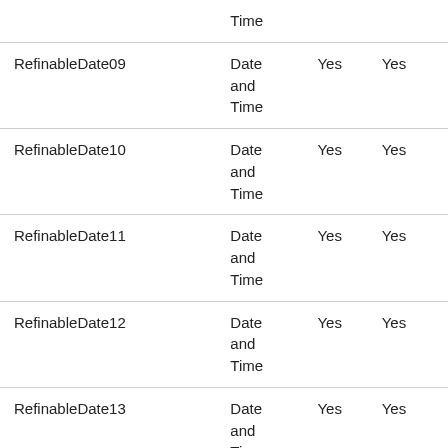| Property | Type | Queryable | Retrievable |
| --- | --- | --- | --- |
|  | Date and Time | Yes | Yes |
| RefinableDate09 | Date and Time | Yes | Yes |
| RefinableDate10 | Date and Time | Yes | Yes |
| RefinableDate11 | Date and Time | Yes | Yes |
| RefinableDate12 | Date and Time | Yes | Yes |
| RefinableDate13 | Date and Time | Yes | Yes |
| RefinableDate14 | Date | Yes | Yes |